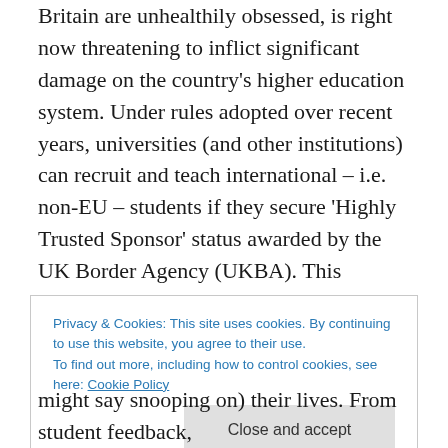Britain are unhealthily obsessed, is right now threatening to inflict significant damage on the country's higher education system. Under rules adopted over recent years, universities (and other institutions) can recruit and teach international – i.e. non-EU – students if they secure 'Highly Trusted Sponsor' status awarded by the UK Border Agency (UKBA). This requires institutions to meet a number of conditions relating to how students are recruited and how they perform, and what measures are taken to monitor them. The bureaucratic complexity of the system can be gleaned here.
Privacy & Cookies: This site uses cookies. By continuing to use this website, you agree to their use. To find out more, including how to control cookies, see here: Cookie Policy
might say snooping on) their lives. From student feedback,